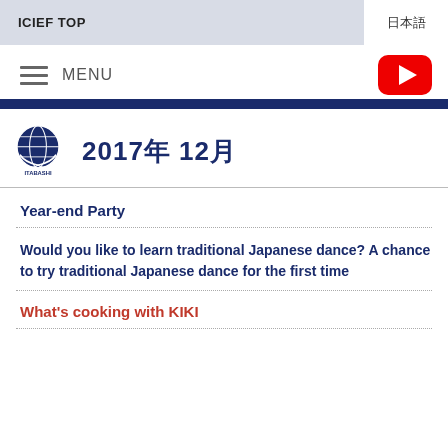日本語
ICIEF TOP
MENU
2017年 12月
Year-end Party
Would you like to learn traditional Japanese dance? A chance to try traditional Japanese dance for the first time
What's cooking with KIKI